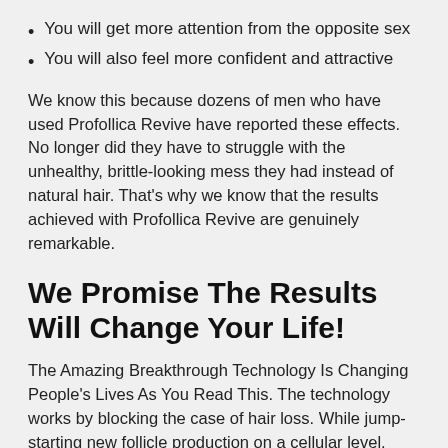You will get more attention from the opposite sex
You will also feel more confident and attractive
We know this because dozens of men who have used Profollica Revive have reported these effects. No longer did they have to struggle with the unhealthy, brittle-looking mess they had instead of natural hair. That's why we know that the results achieved with Profollica Revive are genuinely remarkable.
We Promise The Results Will Change Your Life!
The Amazing Breakthrough Technology Is Changing People's Lives As You Read This. The technology works by blocking the case of hair loss. While jump-starting new follicle production on a cellular level.
The average person loses around 100 hairs a day. It is